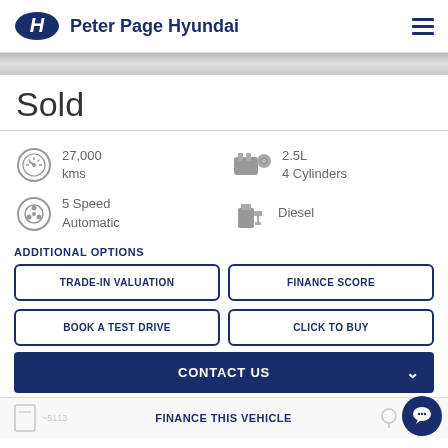Peter Page Hyundai
Sold
27,000 kms
2.5L 4 Cylinders
5 Speed Automatic
Diesel
ADDITIONAL OPTIONS
TRADE-IN VALUATION
FINANCE SCORE
BOOK A TEST DRIVE
CLICK TO BUY
CONTACT US
FINANCE THIS VEHICLE